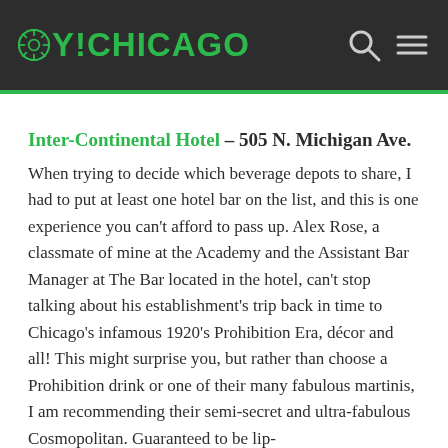OY!CHICAGO
Inter-Continental Hotel – 505 N. Michigan Ave.
When trying to decide which beverage depots to share, I had to put at least one hotel bar on the list, and this is one experience you can't afford to pass up. Alex Rose, a classmate of mine at the Academy and the Assistant Bar Manager at The Bar located in the hotel, can't stop talking about his establishment's trip back in time to Chicago's infamous 1920's Prohibition Era, décor and all! This might surprise you, but rather than choose a Prohibition drink or one of their many fabulous martinis, I am recommending their semi-secret and ultra-fabulous Cosmopolitan. Guaranteed to be lip-